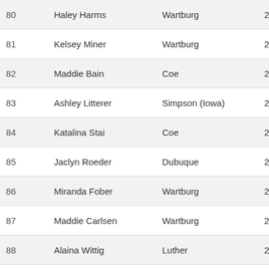| Place | Name | School | Time | Score |
| --- | --- | --- | --- | --- |
| 80 | Haley Harms | Wartburg | 25:48.7 |  |
| 81 | Kelsey Miner | Wartburg | 25:49.3 |  |
| 82 | Maddie Bain | Coe | 25:51.8 | 52 |
| 83 | Ashley Litterer | Simpson (Iowa) | 25:54.1 | 53 |
| 84 | Katalina Stai | Coe | 25:55.0 | 54 |
| 85 | Jaclyn Roeder | Dubuque | 25:57.0 |  |
| 86 | Miranda Fober | Wartburg | 26:01.8 |  |
| 87 | Maddie Carlsen | Wartburg | 26:02.5 |  |
| 88 | Alaina Wittig | Luther | 26:03.2 |  |
| 89 | Savanna Henning | Central College | 26:03.3 |  |
| 90 | Kasey Wiedmaier | Central College | 26:14.1 |  |
| 91 | Kendra Conforti | Central College | 26:20.9 |  |
| 92 | Abby Heiderscheit | Loras | 26:21.3 |  |
| 93 | Jenna Murray | Central College | 26:23.2 |  |